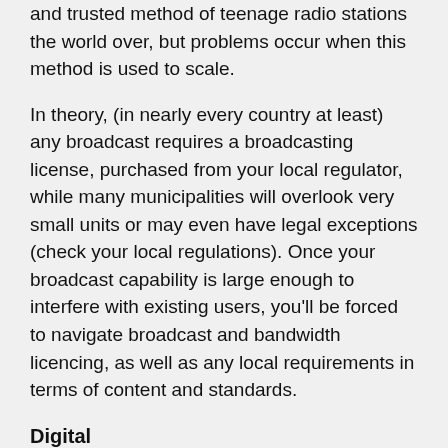and trusted method of teenage radio stations the world over, but problems occur when this method is used to scale.
In theory, (in nearly every country at least) any broadcast requires a broadcasting license, purchased from your local regulator, while many municipalities will overlook very small units or may even have legal exceptions (check your local regulations). Once your broadcast capability is large enough to interfere with existing users, you'll be forced to navigate broadcast and bandwidth licencing, as well as any local requirements in terms of content and standards.
Digital
Digital or DAB was originally deployed as an upgrade to traditional broadcast – solving many of the problems associated with FM and AM, which